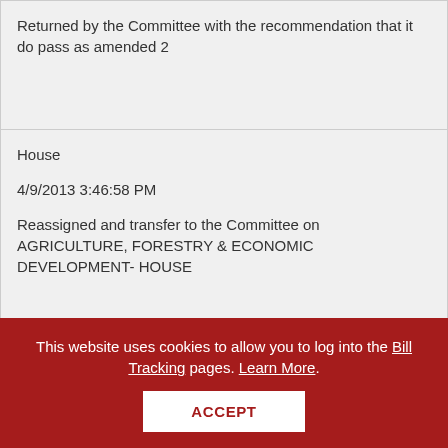|  | Returned by the Committee with the recommendation that it do pass as amended 2 |
| House | 4/9/2013 3:46:58 PM | Reassigned and transfer to the Committee on AGRICULTURE, FORESTRY & ECONOMIC DEVELOPMENT- HOUSE |
| House | 4/9/2013 11:13:32 AM | REPORTED CORRECTLY ENGROSSED |
This website uses cookies to allow you to log into the Bill Tracking pages. Learn More. ACCEPT